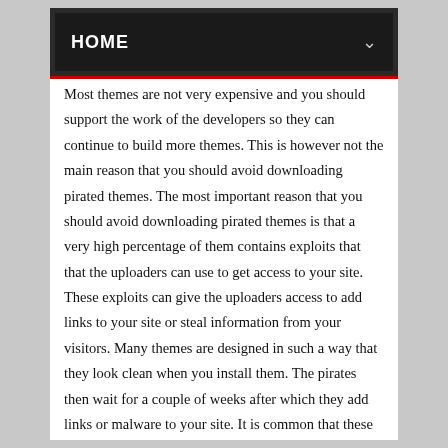HOME
Most themes are not very expensive and you should support the work of the developers so they can continue to build more themes. This is however not the main reason that you should avoid downloading pirated themes. The most important reason that you should avoid downloading pirated themes is that a very high percentage of them contains exploits that that the uploaders can use to get access to your site. These exploits can give the uploaders access to add links to your site or steal information from your visitors. Many themes are designed in such a way that they look clean when you install them. The pirates then wait for a couple of weeks after which they add links or malware to your site. It is common that these links only are visible for search engines and not for users. They can however hurt you in the search engines and prevent your site from getting a lot of exposure. If you can not afford to buy a premium theme then you should download a free one from the WordPress repository. Downloading pirates themes is not